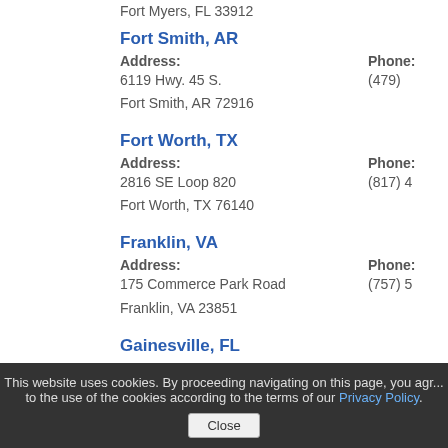Fort Myers, FL 33912
Fort Smith, AR
Address: 6119 Hwy. 45 S. Fort Smith, AR 72916 | Phone: (479)...
Fort Worth, TX
Address: 2816 SE Loop 820 Fort Worth, TX 76140 | Phone: (817)...
Franklin, VA
Address: 175 Commerce Park Road Franklin, VA 23851 | Phone: (757)...
Gainesville, FL
This website uses cookies. By proceeding navigating on this page, you agree to the use of the cookies according to the terms of our Privacy Policy.